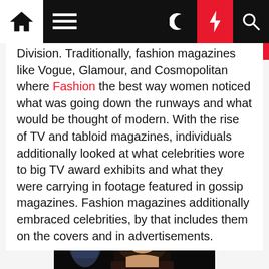Navigation bar with home, menu, dark mode, lightning, and search icons
Division. Traditionally, fashion magazines like Vogue, Glamour, and Cosmopolitan where Fashion the best way women noticed what was going down the runways and what would be thought of modern. With the rise of TV and tabloid magazines, individuals additionally looked at what celebrities wore to big TV award exhibits and what they were carrying in footage featured in gossip magazines. Fashion magazines additionally embraced celebrities, by that includes them on the covers and in advertisements.
[Figure (photo): Close-up photo of a dark-haired female model on a runway, looking directly at camera, dark background with blurred figures behind her.]